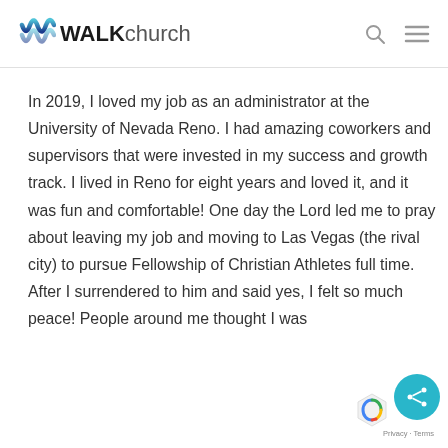WALK church
In 2019, I loved my job as an administrator at the University of Nevada Reno. I had amazing coworkers and supervisors that were invested in my success and growth track. I lived in Reno for eight years and loved it, and it was fun and comfortable! One day the Lord led me to pray about leaving my job and moving to Las Vegas (the rival city) to pursue Fellowship of Christian Athletes full time. After I surrendered to him and said yes, I felt so much peace! People around me thought I was